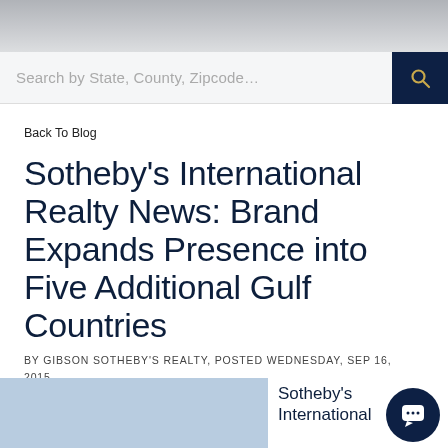[Figure (photo): Decorative banner photo of interior/furniture scene in muted gray tones]
Search by State, County, Zipcode…
Back To Blog
Sotheby's International Realty News: Brand Expands Presence into Five Additional Gulf Countries
BY GIBSON SOTHEBY'S REALTY, POSTED WEDNESDAY, SEP 16, 2015
[Figure (photo): Light blue image placeholder at bottom left]
Sotheby's International